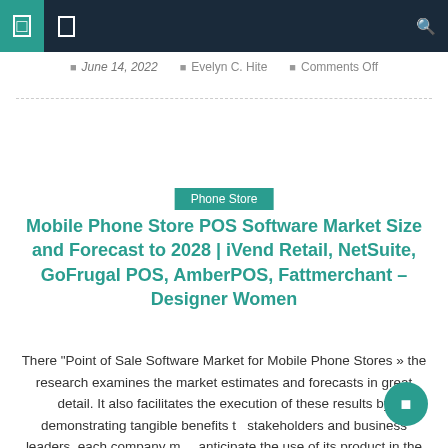Navigation bar with icons and search
June 14, 2022  Evelyn C. Hite  Comments Off
Phone Store
Mobile Phone Store POS Software Market Size and Forecast to 2028 | iVend Retail, NetSuite, GoFrugal POS, AmberPOS, Fattmerchant – Designer Women
There “Point of Sale Software Market for Mobile Phone Stores » the research examines the market estimates and forecasts in great detail. It also facilitates the execution of these results by demonstrating tangible benefits to stakeholders and business leaders. each company may anticipate the use of its product in the longer term. Given